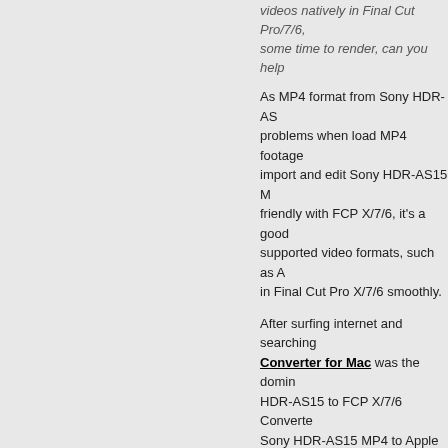videos natively in Final Cut Pro/7/6, some time to render, can you help
As MP4 format from Sony HDR-AS15 problems when load MP4 footage import and edit Sony HDR-AS15 M friendly with FCP X/7/6, it's a good supported video formats, such as A in Final Cut Pro X/7/6 smoothly.
After surfing internet and searching, Converter for Mac was the domin HDR-AS15 to FCP X/7/6 Converte Sony HDR-AS15 MP4 to Apple Pr
Guide: Convert Sony HDR-AS15
STEP 1: Launch UFUWare Sony H Sony HDR-AS15 H.264 mp4 files.
[Figure (illustration): Orange Buy Now button with Mac Finder icon and '90 Days Money Back Guarantee' text below]